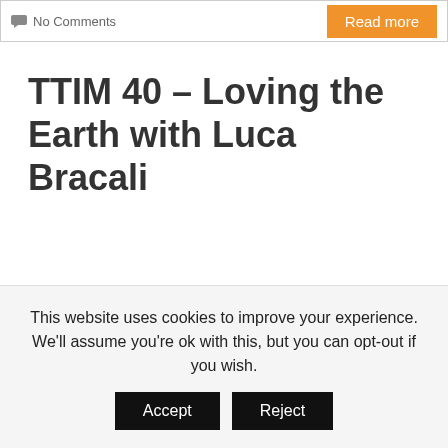No Comments
TTIM 40 – Loving the Earth with Luca Bracali
This website uses cookies to improve your experience. We'll assume you're ok with this, but you can opt-out if you wish.